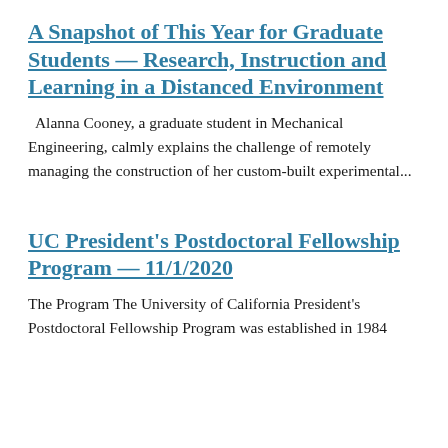A Snapshot of This Year for Graduate Students — Research, Instruction and Learning in a Distanced Environment
Alanna Cooney, a graduate student in Mechanical Engineering, calmly explains the challenge of remotely managing the construction of her custom-built experimental...
UC President's Postdoctoral Fellowship Program — 11/1/2020
The Program The University of California President's Postdoctoral Fellowship Program was established in 1984